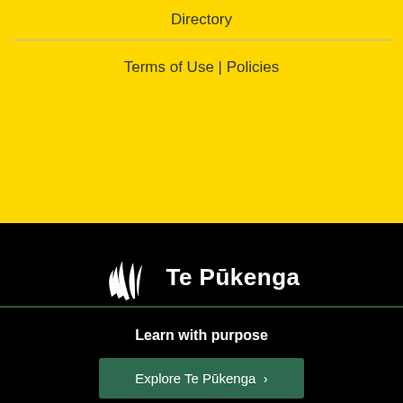Directory
Terms of Use | Policies
[Figure (logo): Te Pūkenga logo with stylized white fern/wave mark and bold white text 'Te Pūkenga' on black background]
Wintec is part of Te Pūkenga - New Zealand Institute of Skills and Technology
Learn More
Learn with purpose
Explore Te Pūkenga >